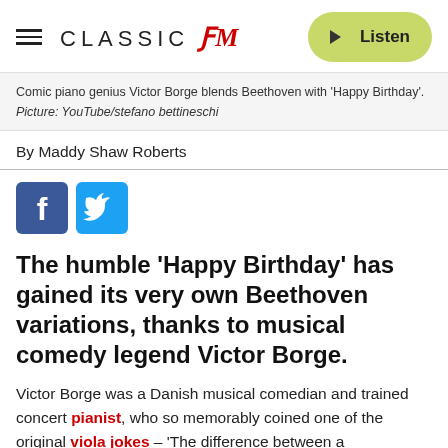CLASSIC fM  Listen
Comic piano genius Victor Borge blends Beethoven with 'Happy Birthday'. Picture: YouTube/stefano bettineschi
By Maddy Shaw Roberts
[Figure (other): Facebook and Twitter share buttons]
The humble ‘Happy Birthday’ has gained its very own Beethoven variations, thanks to musical comedy legend Victor Borge.
Victor Borge was a Danish musical comedian and trained concert pianist, who so memorably coined one of the original viola jokes – 'The difference between a